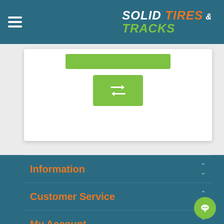SOLID TIRES & TRACKS
[Figure (screenshot): Green bar and compare/repeat button on white card]
Information
Customer Service
My Account
Follow Us
[Figure (other): Social media icons: Facebook, Twitter, YouTube, Google+]